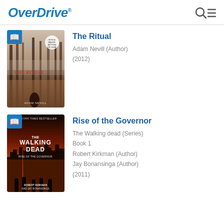OverDrive
[Figure (illustration): Book cover for 'The Ritual' by Adam Nevill showing a misty forest with a dark figure, eerie atmosphere]
The Ritual
Adam Nevill (Author)
(2012)
[Figure (illustration): Book cover for 'Rise of the Governor' - The Walking Dead series, showing silhouettes of people against a burning city skyline]
Rise of the Governor
The Walking dead (Series)
Book 1
Robert Kirkman (Author)
Jay Bonansinga (Author)
(2011)